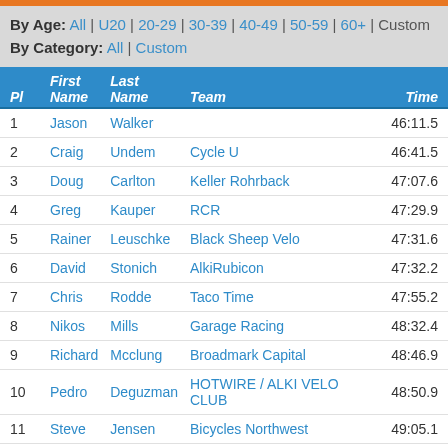By Age: All | U20 | 20-29 | 30-39 | 40-49 | 50-59 | 60+ | Custom
By Category: All | Custom
| Pl | First Name | Last Name | Team | Time |
| --- | --- | --- | --- | --- |
| 1 | Jason | Walker |  | 46:11.5 |
| 2 | Craig | Undem | Cycle U | 46:41.5 |
| 3 | Doug | Carlton | Keller Rohrback | 47:07.6 |
| 4 | Greg | Kauper | RCR | 47:29.9 |
| 5 | Rainer | Leuschke | Black Sheep Velo | 47:31.6 |
| 6 | David | Stonich | AlkiRubicon | 47:32.2 |
| 7 | Chris | Rodde | Taco Time | 47:55.2 |
| 8 | Nikos | Mills | Garage Racing | 48:32.4 |
| 9 | Richard | Mcclung | Broadmark Capital | 48:46.9 |
| 10 | Pedro | Deguzman | HOTWIRE / ALKI VELO CLUB | 48:50.9 |
| 11 | Steve | Jensen | Bicycles Northwest | 49:05.1 |